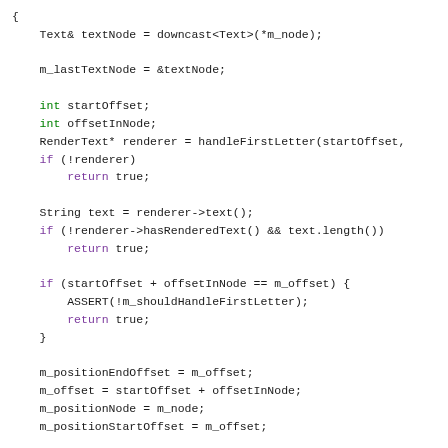Source code snippet showing C++ method implementation with variable declarations, conditional logic, and ASSERT statements.